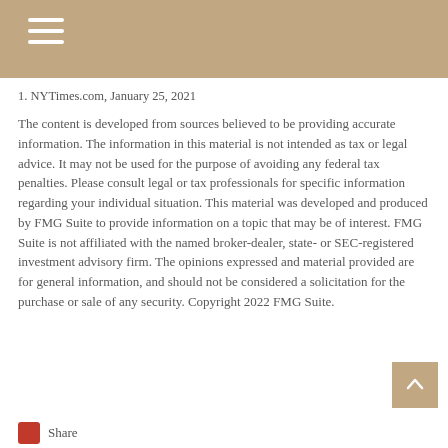1. NYTimes.com, January 25, 2021
The content is developed from sources believed to be providing accurate information. The information in this material is not intended as tax or legal advice. It may not be used for the purpose of avoiding any federal tax penalties. Please consult legal or tax professionals for specific information regarding your individual situation. This material was developed and produced by FMG Suite to provide information on a topic that may be of interest. FMG Suite is not affiliated with the named broker-dealer, state- or SEC-registered investment advisory firm. The opinions expressed and material provided are for general information, and should not be considered a solicitation for the purchase or sale of any security. Copyright 2022 FMG Suite.